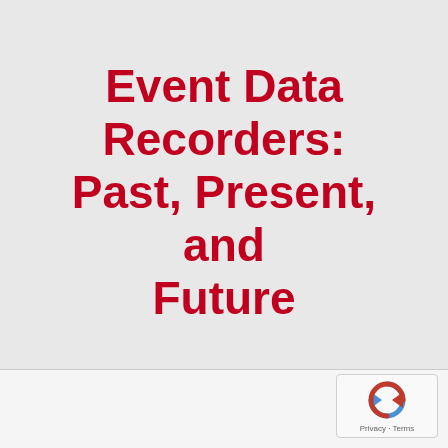Event Data Recorders: Past, Present, and Future
[Figure (logo): reCAPTCHA logo with Privacy and Terms text]